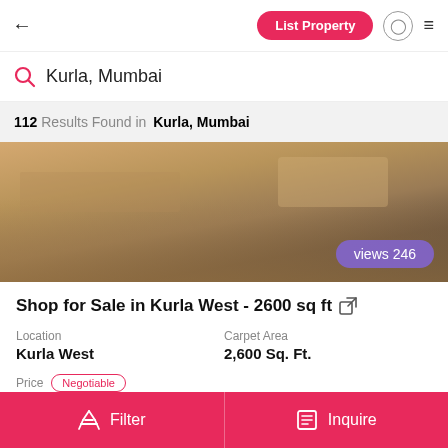← | List Property | [user icon] | ≡
Kurla, Mumbai
112 Results Found in Kurla, Mumbai
[Figure (photo): Interior photo of a shop/commercial space showing wooden floor, table and chairs, with a purple badge overlay reading 'views 246']
Shop for Sale in Kurla West - 2600 sq ft
Location
Kurla West
Carpet Area
2,600 Sq. Ft.
Price  Negotiable
INR 3.20 Cr
Filter | Inquire